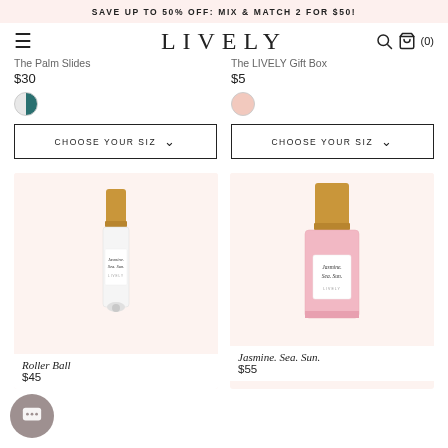SAVE UP TO 50% OFF: MIX & MATCH 2 FOR $50!
LIVELY
The Palm Slides
$30
CHOOSE YOUR SIZ
The LIVELY Gift Box
$5
CHOOSE YOUR SIZ
[Figure (photo): Roller ball perfume bottle with gold cap labeled Jasmine. Sea. Sun. LIVELY]
Roller Ball
$45
[Figure (photo): Pink glass perfume bottle with gold cap labeled Jasmine. Sea. Sun. LIVELY]
Jasmine. Sea. Sun.
$55